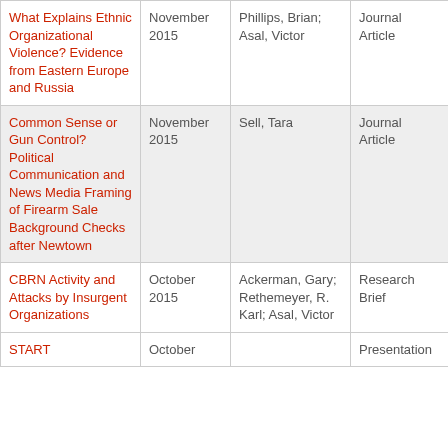| What Explains Ethnic Organizational Violence? Evidence from Eastern Europe and Russia | November 2015 | Phillips, Brian; Asal, Victor | Journal Article |
| Common Sense or Gun Control? Political Communication and News Media Framing of Firearm Sale Background Checks after Newtown | November 2015 | Sell, Tara | Journal Article |
| CBRN Activity and Attacks by Insurgent Organizations | October 2015 | Ackerman, Gary; Rethemeyer, R. Karl; Asal, Victor | Research Brief |
| START | October |  | Presentation |